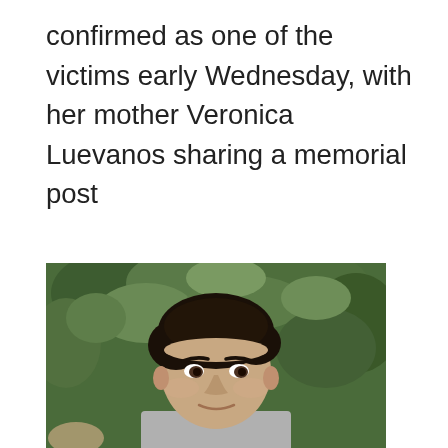confirmed as one of the victims early Wednesday, with her mother Veronica Luevanos sharing a memorial post
[Figure (photo): Portrait photo of a young boy with dark hair, wearing a gray t-shirt with black collar detail, standing in front of green leafy bushes. He has a slight smile and is looking at the camera.]